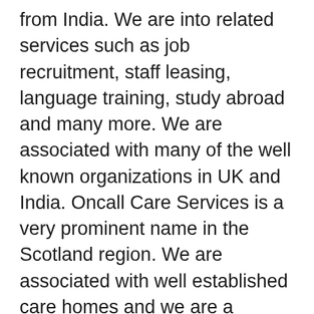from India. We are into related services such as job recruitment, staff leasing, language training, study abroad and many more. We are associated with many of the well known organizations in UK and India. Oncall Care Services is a very prominent name in the Scotland region. We are associated with well established care homes and we are a regular provider of nurses and other staffs to care homes on temporary basic. We provide our other services such as Free Consultation andValuation, Visa and Documentation, Funding Assistance, Travel Assistance, Airport Pick and Drop, International Fund Transfer, Pre departure briefing and many more. Our Single Contact